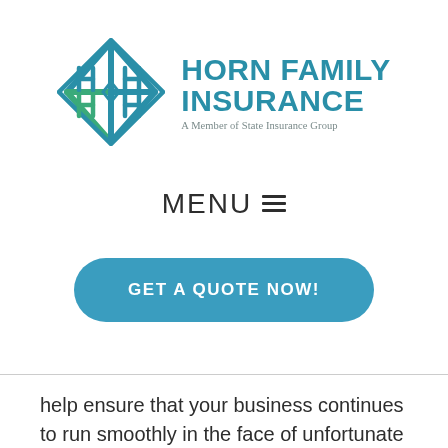[Figure (logo): Horn Family Insurance logo — geometric diamond shape with teal/blue interlocking H letters, beside bold teal text 'HORN FAMILY INSURANCE' and subtitle 'A Member of State Insurance Group']
MENU ☰
GET A QUOTE NOW!
help ensure that your business continues to run smoothly in the face of unfortunate or unforeseen